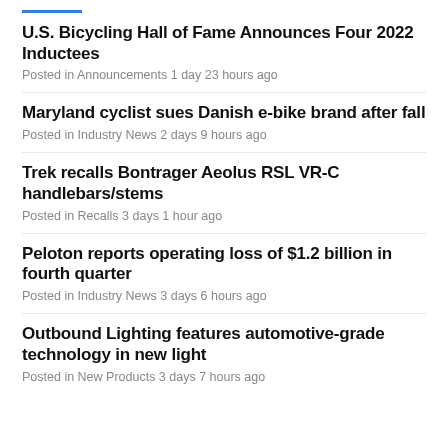U.S. Bicycling Hall of Fame Announces Four 2022 Inductees
Posted in Announcements 1 day 23 hours ago
Maryland cyclist sues Danish e-bike brand after fall
Posted in Industry News 2 days 9 hours ago
Trek recalls Bontrager Aeolus RSL VR-C handlebars/stems
Posted in Recalls 3 days 1 hour ago
Peloton reports operating loss of $1.2 billion in fourth quarter
Posted in Industry News 3 days 6 hours ago
Outbound Lighting features automotive-grade technology in new light
Posted in New Products 3 days 7 hours ago